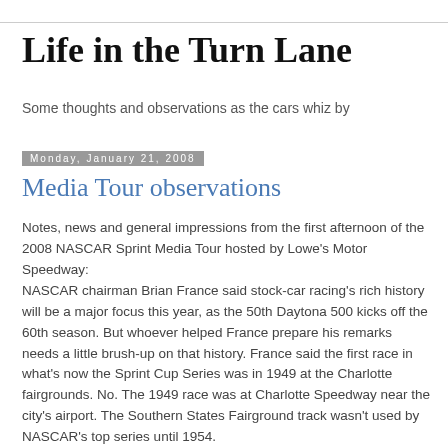Life in the Turn Lane
Some thoughts and observations as the cars whiz by
Monday, January 21, 2008
Media Tour observations
Notes, news and general impressions from the first afternoon of the 2008 NASCAR Sprint Media Tour hosted by Lowe's Motor Speedway:
NASCAR chairman Brian France said stock-car racing's rich history will be a major focus this year, as the 50th Daytona 500 kicks off the 60th season. But whoever helped France prepare his remarks needs a little brush-up on that history. France said the first race in what's now the Sprint Cup Series was in 1949 at the Charlotte fairgrounds. No. The 1949 race was at Charlotte Speedway near the city's airport. The Southern States Fairground track wasn't used by NASCAR's top series until 1954.